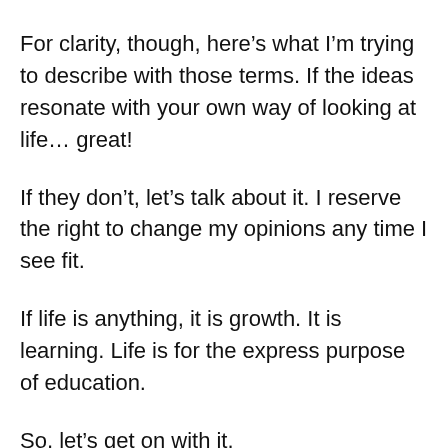For clarity, though, here’s what I’m trying to describe with those terms. If the ideas resonate with your own way of looking at life… great!
If they don’t, let’s talk about it. I reserve the right to change my opinions any time I see fit.
If life is anything, it is growth. It is learning. Life is for the express purpose of education.
So, let’s get on with it.
[clickToTweet tweet=“Body, Mind, Spirit. Roadturn Reboot focuses on all 3.” quote=“Body, Mind, Spirit. The Roadturn Reboot focuses on all three!”]